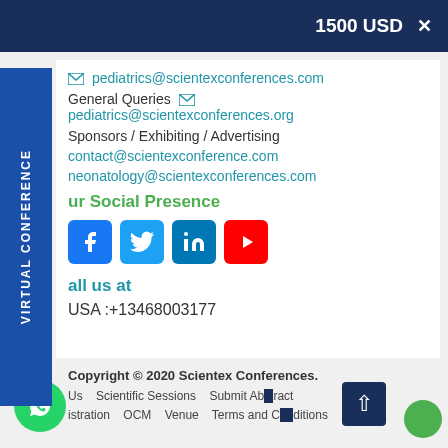1500 USD
pediatrics@scientexconferences.com
General Queries  pediatrics@scientexconferences.org
Sponsors / Exhibiting / Advertising
contact@scientexconference.com
neonatology@scientexconferences.com
ur Social Presence
[Figure (illustration): Social media icons: Facebook, Twitter, LinkedIn, YouTube]
all us at
USA :+13468003177
Copyright © 2020 Scientex Conferences. Us   Scientific Sessions   Submit Abstract   istration   OCM   Venue   Terms and Conditions